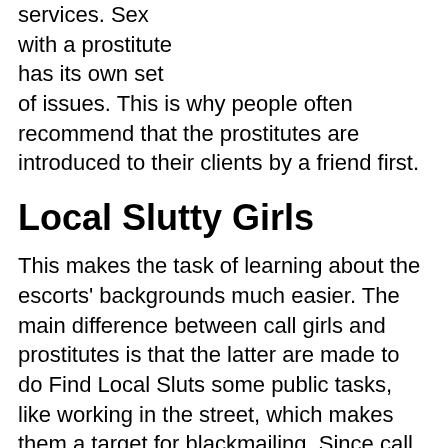services. Sex with a prostitute has its own set of issues. This is why people often recommend that the prostitutes are introduced to their clients by a friend first.
Local Slutty Girls
This makes the task of learning about the escorts' backgrounds much easier. The main difference between call girls and prostitutes is that the latter are made to do Find Local Sluts some public tasks, like working in the street, which makes them a target for blackmailing. Since call girls are still subject to public harassment, the danger of blackmailing should not be ignored.
Most often, the problem is caused by the fact that people are looking for women who do sex work